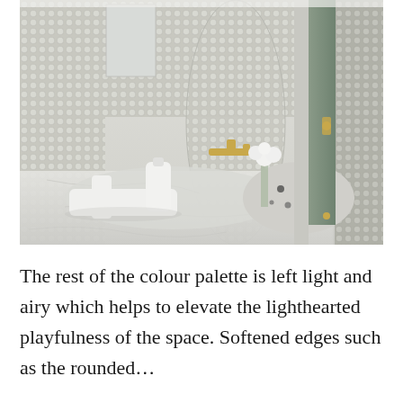[Figure (photo): Interior bathroom photo showing penny tile mosaic walls in grey/white, a curved mosaic column, a terrazzo sink basin, white accessories with gold faucet, marble floor, and a sage green door with brass hardware.]
The rest of the colour palette is left light and airy which helps to elevate the lighthearted playfulness of the space. Softened edges such as the rounded...